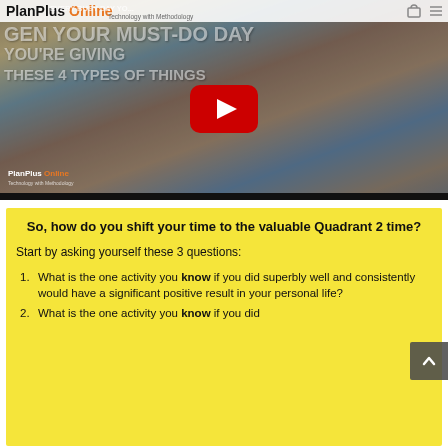[Figure (screenshot): PlanPlus Online website screenshot showing a YouTube video thumbnail of a busy city street scene with people crossing the road, overlaid with bold white text reading 'THESE 4 TYPES OF THINGS', a YouTube play button in the center, and the PlanPlus Online logo with tagline 'Technology with Methodology']
So, how do you shift your time to the valuable Quadrant 2 time?
Start by asking yourself these 3 questions:
What is the one activity you know if you did superbly well and consistently would have a significant positive result in your personal life?
What is the one activity you know if you did